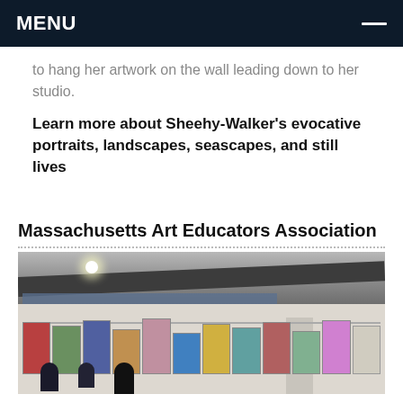MENU
to hang her artwork on the wall leading down to her studio.
Learn more about Sheehy-Walker's evocative portraits, landscapes, seascapes, and still lives
Massachusetts Art Educators Association
[Figure (photo): Interior of an art exhibition space showing a large gallery hall with a high ceiling, industrial beams, windows in the background, and artwork displayed on hanging panels. People are visible in the foreground browsing the artwork.]